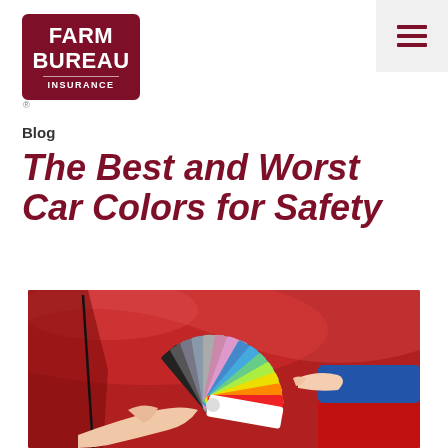[Figure (logo): Farm Bureau Insurance logo — dark red rounded rectangle with white text]
[Figure (other): Hamburger menu icon (three horizontal dark red bars) on light gray background]
Blog
The Best and Worst Car Colors for Safety
[Figure (photo): Person in blue sleeve holding a fan of colorful paint swatches next to a shiny red car, with another person's hand pointing at the swatches]